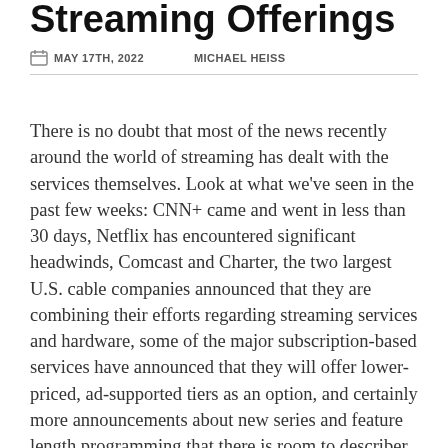Streaming Offerings
MAY 17TH, 2022   MICHAEL HEISS
There is no doubt that most of the news recently around the world of streaming has dealt with the services themselves. Look at what we've seen in the past few weeks: CNN+ came and went in less than 30 days, Netflix has encountered significant headwinds, Comcast and Charter, the two largest U.S. cable companies announced that they are combining their efforts regarding streaming services and hardware, some of the major subscription-based services have announced that they will offer lower-priced, ad-supported tiers as an option, and certainly more announcements about new series and feature length programming that there is room to describer here.
Yet despite the business and content focus, without